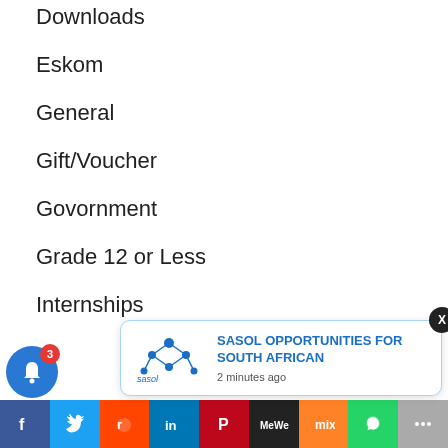Downloads
Eskom
General
Gift/Voucher
Govornment
Grade 12 or Less
Internships
[Figure (screenshot): Sasol Opportunities notification popup with logo and text 'SASOL OPPORTUNITIES FOR SOUTH AFRICAN' and '2 minutes ago']
[Figure (infographic): Bottom social share bar with icons for Facebook, Twitter, Reddit, LinkedIn, Pinterest, MeWe, Mix, WhatsApp, and More]